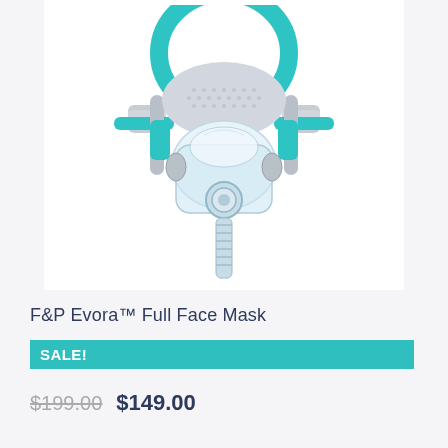[Figure (photo): F&P Evora Full Face CPAP mask shown from the front. The mask has a teal/turquoise headgear strap forming a loop at the top, gray mesh side panels, clear silicone cushion and frame covering the nose and mouth area, and a corrugated clear tubing connector at the bottom. Background is white.]
F&P Evora™ Full Face Mask
SALE!
$199.00  $149.00